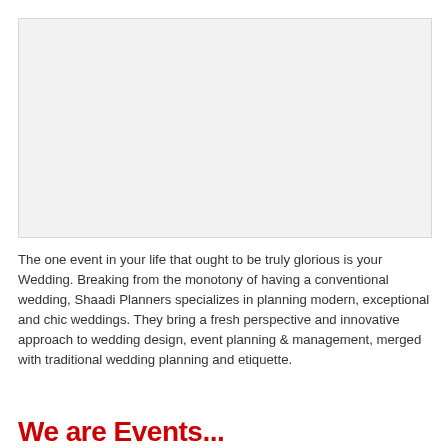[Figure (photo): Large image placeholder area with light gray background]
The one event in your life that ought to be truly glorious is your Wedding. Breaking from the monotony of having a conventional wedding, Shaadi Planners specializes in planning modern, exceptional and chic weddings. They bring a fresh perspective and innovative approach to wedding design, event planning & management, merged with traditional wedding planning and etiquette.
We are Events...